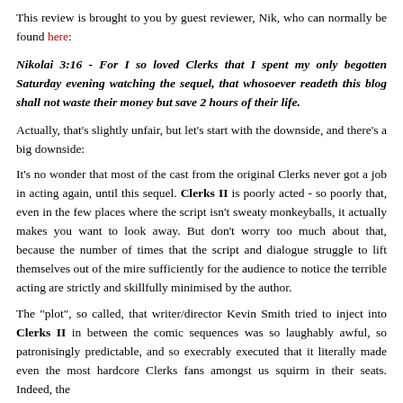This review is brought to you by guest reviewer, Nik, who can normally be found here:
Nikolai 3:16 - For I so loved Clerks that I spent my only begotten Saturday evening watching the sequel, that whosoever readeth this blog shall not waste their money but save 2 hours of their life.
Actually, that's slightly unfair, but let's start with the downside, and there's a big downside:
It's no wonder that most of the cast from the original Clerks never got a job in acting again, until this sequel. Clerks II is poorly acted - so poorly that, even in the few places where the script isn't sweaty monkeyballs, it actually makes you want to look away. But don't worry too much about that, because the number of times that the script and dialogue struggle to lift themselves out of the mire sufficiently for the audience to notice the terrible acting are strictly and skillfully minimised by the author.
The "plot", so called, that writer/director Kevin Smith tried to inject into Clerks II in between the comic sequences was so laughably awful, so patronisingly predictable, and so execrably executed that it literally made even the most hardcore Clerks fans amongst us squirm in their seats. Indeed, the